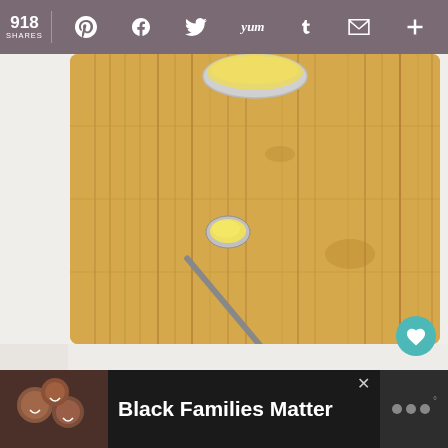918 SHARES — social sharing bar with Pinterest, Facebook, Twitter, Yummly, Tumblr, Email, More icons
[Figure (photo): Overhead shot of a wooden bamboo cutting board on a white surface, with a small silver spoon holding a dollop of yellow lemon curd, and a small metal bowl of lemon curd partially visible at the top.]
1
[Figure (photo): WHAT'S NEXT thumbnail image of a creamy lemon dish]
WHAT'S NEXT → Creamy Low-Carb Lemon...
[Figure (photo): Advertisement banner: Black Families Matter. Shows a photo of smiling Black family members lying together, with advertisement logo on the right.]
Black Families Matter